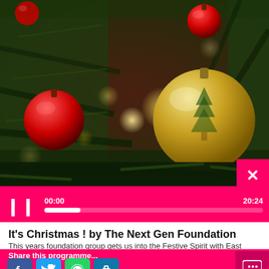[Figure (photo): Close-up photo of a Christmas tree with red and gold ornament baubles and bokeh golden light blurs in background]
00:00  20:24
It's Christmas ! by The Next Gen Foundation
This years foundation group gets us into the Festive Spirit with East Leeds first Christmas broadcast of the year....
More details
Share this programme...